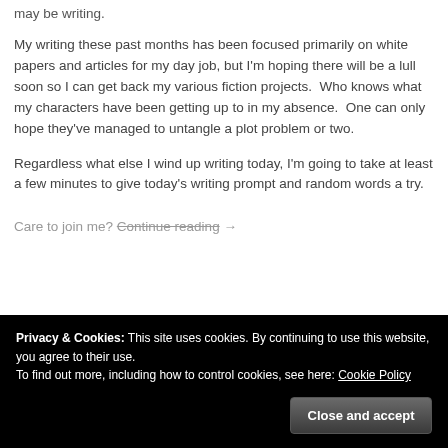may be writing.
My writing these past months has been focused primarily on white papers and articles for my day job, but I'm hoping there will be a lull soon so I can get back my various fiction projects.  Who knows what my characters have been getting up to in my absence.  One can only hope they've managed to untangle a plot problem or two.
Regardless what else I wind up writing today, I'm going to take at least a few minutes to give today's writing prompt and random words a try.
Care to join me? Continue reading →
Privacy & Cookies: This site uses cookies. By continuing to use this website, you agree to their use.
To find out more, including how to control cookies, see here: Cookie Policy